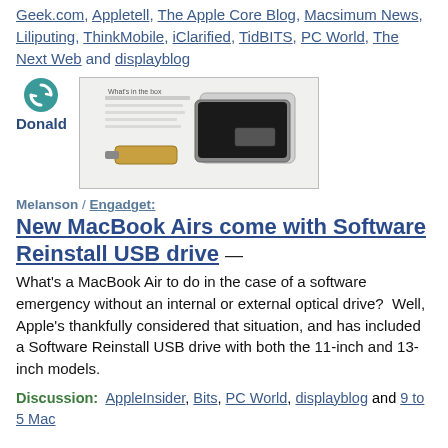Geek.com, Appletell, The Apple Core Blog, Macsimum News, Liliputing, ThinkMobile, iClarified, TidBITS, PC World, The Next Web and displayblog
[Figure (photo): Avatar icon (circular teal sync/refresh icon) next to the name 'Donald', with a product image of a MacBook Air box and USB drive.]
Melanson / Engadget:
New MacBook Airs come with Software Reinstall USB drive
What's a MacBook Air to do in the case of a software emergency without an internal or external optical drive?  Well, Apple's thankfully considered that situation, and has included a Software Reinstall USB drive with both the 11-inch and 13-inch models.
Discussion:  AppleInsider, Bits, PC World, displayblog and 9 to 5 Mac